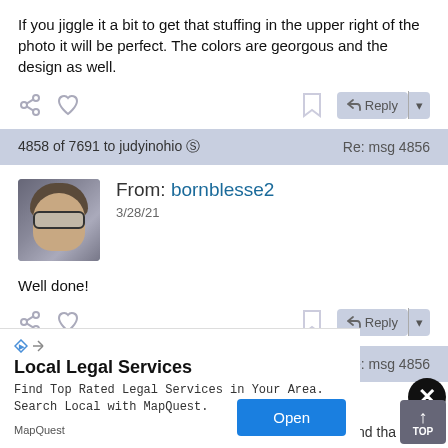If you jiggle it a bit to get that stuffing in the upper right of the photo it will be perfect. The colors are georgous and the design as well.
[Figure (screenshot): Action bar with share icon, heart icon, bookmark icon, and Reply button]
4858 of 7691 to judyinohio ✓   Re: msg 4856
[Figure (photo): Avatar photo of bornblesse2 user]
From: bornblesse2
3/28/21
Well done!
[Figure (screenshot): Action bar with share icon, heart icon, bookmark icon, and Reply button]
4859 of 7691 to judyinohio ✓   Re: msg 4856
Local Legal Services
Find Top Rated Legal Services in Your Area. Search Local with MapQuest.
MapQuest
gling...and tha